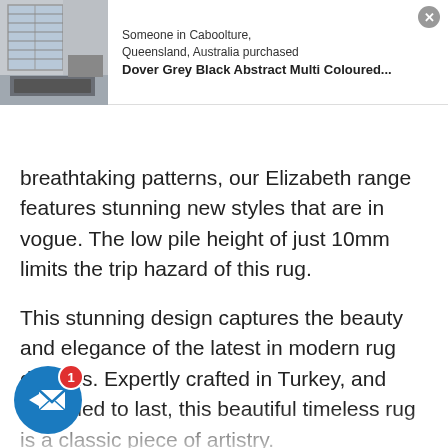[Figure (screenshot): Notification popup showing a room with a grey rug, with text about a purchase from Caboolture, Queensland, Australia. Product: Dover Grey Black Abstract Multi Coloured...]
Someone in Caboolture, Queensland, Australia purchased
Dover Grey Black Abstract Multi Coloured...
17:55:15 Buy now and save!
breathtaking patterns, our Elizabeth range features stunning new styles that are in vogue. The low pile height of just 10mm limits the trip hazard of this rug.
This stunning design captures the beauty and elegance of the latest in modern rug designs. Expertly crafted in Turkey, and designed to last, this beautiful timeless rug is a classic piece of artistry.
a stylish change to your home or office today his beautiful, durable and low